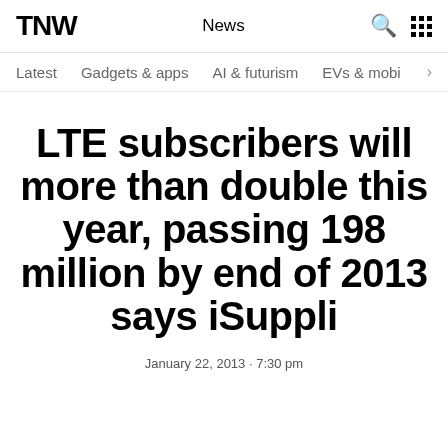TNW | News
Latest | Gadgets & apps | AI & futurism | EVs & mobi >
LTE subscribers will more than double this year, passing 198 million by end of 2013 says iSuppli
January 22, 2013 · 7:30 pm